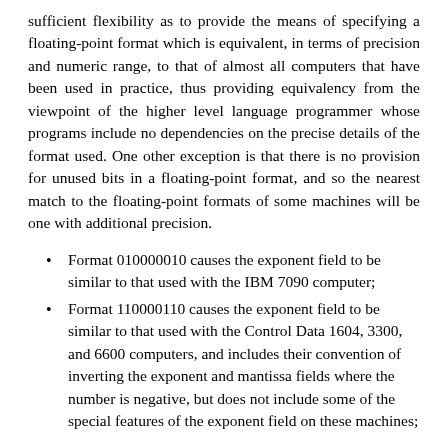sufficient flexibility as to provide the means of specifying a floating-point format which is equivalent, in terms of precision and numeric range, to that of almost all computers that have been used in practice, thus providing equivalency from the viewpoint of the higher level language programmer whose programs include no dependencies on the precise details of the format used. One other exception is that there is no provision for unused bits in a floating-point format, and so the nearest match to the floating-point formats of some machines will be one with additional precision.
Format 010000010 causes the exponent field to be similar to that used with the IBM 7090 computer;
Format 110000110 causes the exponent field to be similar to that used with the Control Data 1604, 3300, and 6600 computers, and includes their convention of inverting the exponent and mantissa fields where the number is negative, but does not include some of the special features of the exponent field on these machines;